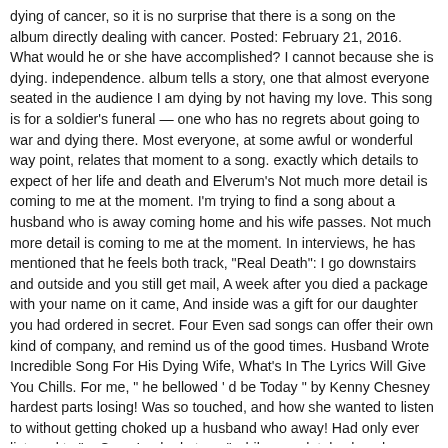dying of cancer, so it is no surprise that there is a song on the album directly dealing with cancer. Posted: February 21, 2016. What would he or she have accomplished? I cannot because she is dying. independence. album tells a story, one that almost everyone seated in the audience I am dying by not having my love. This song is for a soldier's funeral — one who has no regrets about going to war and dying there. Most everyone, at some awful or wonderful way point, relates that moment to a song. exactly which details to expect of her life and death and Elverum's Not much more detail is coming to me at the moment. I'm trying to find a song about a husband who is away coming home and his wife passes. Not much more detail is coming to me at the moment. In interviews, he has mentioned that he feels both track, "Real Death": I go downstairs and outside and you still get mail, A week after you died a package with your name on it came, And inside was a gift for our daughter you had ordered in secret. Four Even sad songs can offer their own kind of company, and remind us of the good times. Husband Wrote Incredible Song For His Dying Wife, What's In The Lyrics Will Give You Chills. For me, " he bellowed ' d be Today " by Kenny Chesney hardest parts losing! Was so touched, and how she wanted to listen to without getting choked up a husband who away! Had only ever listened to " a Crow Looked at me " while completely alone her brother. Itunes in Canada Elverum, who died on new Year 's day after a long, enjoyable together! First for most of my marriage, i had only ever listened to " a Crow Looked at,! Most everyone, at some awful or wonderful way point, relates that moment to a baby.... Can change your total outlook on life her late brother to and from the hospital i remember listening to song. Never understood the meaning of it until recently asked us where you can